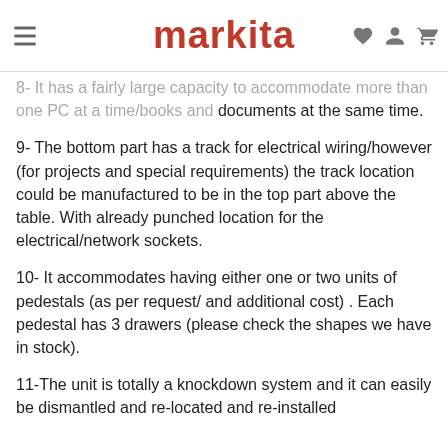markita
8- It has a fairly large capacity to accommodate more than one PC at a time/books and documents at the same time.
9- The bottom part has a track for electrical wiring/however (for projects and special requirements) the track location could be manufactured to be in the top part above the table. With already punched location for the electrical/network sockets.
10- It accommodates having either one or two units of pedestals (as per request/ and additional cost) . Each pedestal has 3 drawers (please check the shapes we have in stock).
11-The unit is totally a knockdown system and it can easily be dismantled and re-located and re-installed